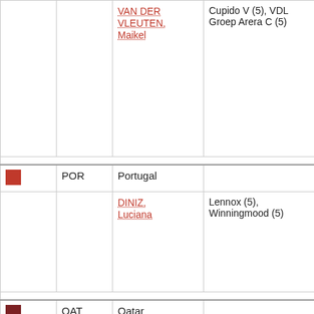| Flag/Pos | Code | Country/Athlete | Horse(s) |
| --- | --- | --- | --- |
|  |  | VAN DER VLEUTEN, Maikel | Cupido V (5), VDL Groep Arera C (5) |
| [POR flag] | POR | Portugal |  |
|  |  | DINIZ, Luciana | Lennox (5), Winningmood (5) |
| [QAT flag] | QAT | Qatar |  |
|  |  | AL ATTIYAH, Hamad | Appagino 2 (5), Whitaker (5) |
|  |  | AL RUMAIHI, Ali | Gunder (5) |
|  |  |  | Anyway II... |